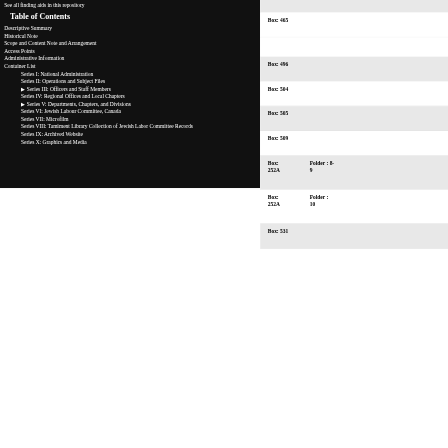See all finding aids in this repository
Table of Contents
Descriptive Summary
Historical Note
Scope and Content Note and Arrangement
Access Points
Administrative Information
Container List
Series I: National Administration
Series II: Operations and Subject Files
▶ Series III: Officers and Staff Members
Series IV: Regional Offices and Local Chapters
▶ Series V: Departments, Chapters, and Divisions
Series VI: Jewish Labour Committee, Canada
Series VII: Microfilm
Series VIII: Tamiment Library Collection of Jewish Labor Committee Records
Series IX: Archived Website
Series X: Graphics and Media
Box: 465
Box: 496
Box: 504
Box: 505
Box: 509
Box: 252A   Folder : 8-9
Box: 252A   Folder : 10
Box: 531